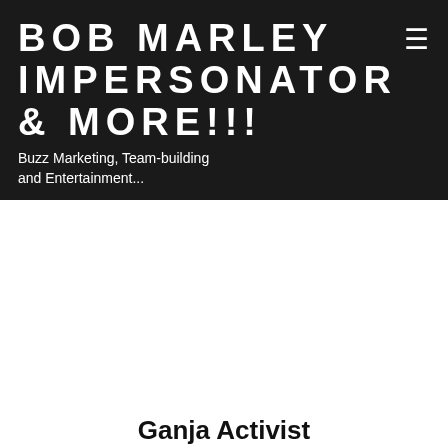BOB MARLEY IMPERSONATOR & MORE!!!
Buzz Marketing, Team-building and Entertainment...
Ganja Activist
[Figure (illustration): Circular badge/logo with black background, red and green circular border rings, cannabis leaf graphics, and cursive text reading 'Good Vibes World Wide'. Outer ring text reads 'PUT DOWN YOUR PHONE &'. Reggae/Rasta color scheme.]